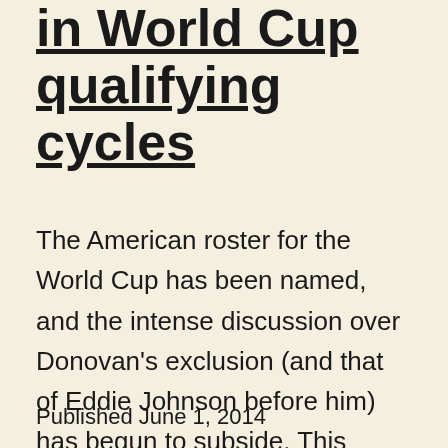in World Cup qualifying cycles
The American roster for the World Cup has been named, and the intense discussion over Donovan's exclusion (and that of Eddie Johnson before him) has begun to subside. This seems an opportune time to look back over how this World Cup cycle compares to the last few.
Published June 1, 2014